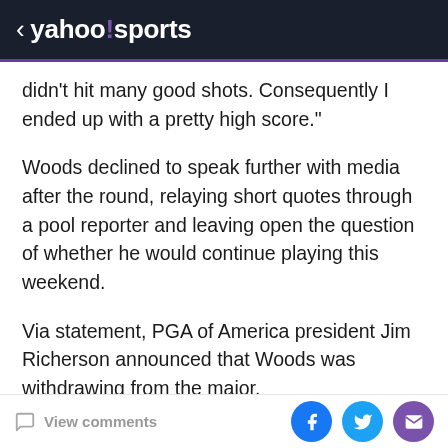< yahoo!sports
didn't hit many good shots. Consequently I ended up with a pretty high score."
Woods declined to speak further with media after the round, relaying short quotes through a pool reporter and leaving open the question of whether he would continue playing this weekend.
Via statement, PGA of America president Jim Richerson announced that Woods was withdrawing from the major.
[Figure (other): Embedded content placeholder box with light gray background]
View comments | Social share buttons: Facebook, Twitter, Email